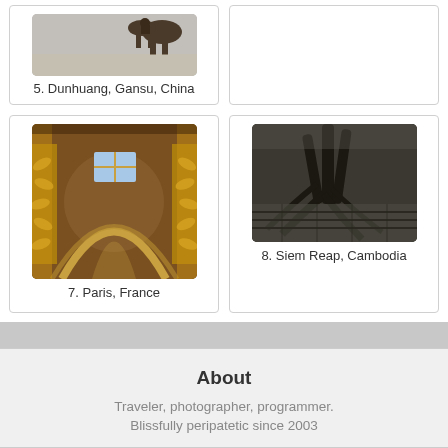[Figure (photo): Photo of Dunhuang, Gansu, China - partial view at top]
5. Dunhuang, Gansu, China
[Figure (photo): Empty right card - no image shown]
[Figure (photo): Photo of Paris, France - ornate gilded ceiling with dome and window]
7. Paris, France
[Figure (photo): Photo of Siem Reap, Cambodia - ancient temple ruins with large tree roots]
8. Siem Reap, Cambodia
About
Traveler, photographer, programmer.
Blissfully peripatetic since 2003
Contact